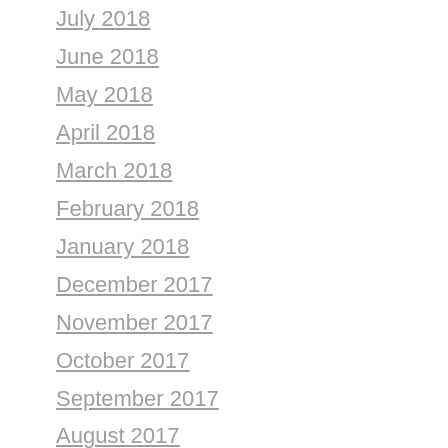July 2018
June 2018
May 2018
April 2018
March 2018
February 2018
January 2018
December 2017
November 2017
October 2017
September 2017
August 2017
July 2017
June 2017
May 2017
April 2017
March 2017
February 2017
January 2017